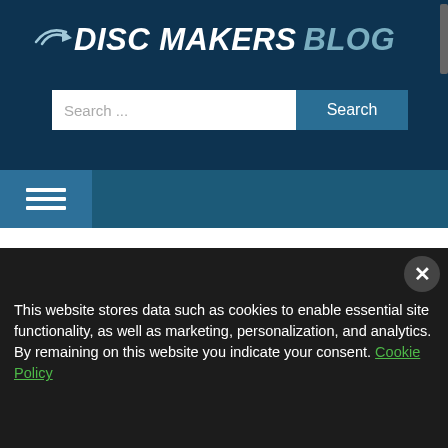DISC MAKERS BLOG
Search ...
[Figure (screenshot): Sheet music close-up, black and white, blurred]
This website stores data such as cookies to enable essential site functionality, as well as marketing, personalization, and analytics. By remaining on this website you indicate your consent. Cookie Policy